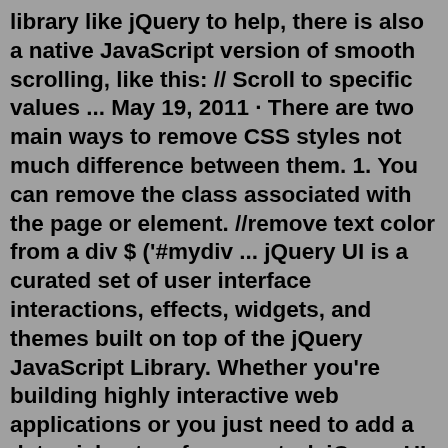library like jQuery to help, there is also a native JavaScript version of smooth scrolling, like this: // Scroll to specific values ... May 19, 2011 · There are two main ways to remove CSS styles not much difference between them. 1. You can remove the class associated with the page or element. //remove text color from a div $ ('#mydiv ... jQuery UI is a curated set of user interface interactions, effects, widgets, and themes built on top of the jQuery JavaScript Library. Whether you're building highly interactive web applications or you just need to add a date picker to a form control, jQuery UI is the perfect choice. Thanks a million for the #grid to .grid help. for some reason I can get $(this).removeClass('grid'); to remove the class or other classes I've tried – Wanting to learn Jul 25, 2013 at 17:44 no t need jQuery. jQuery and its cousins are great, and by all means use them if it makes it easier to develop your application. If you're developing a library on the other hand, please take a moment to consider if you actually need jQuery as a dependency. Maybe your included function of